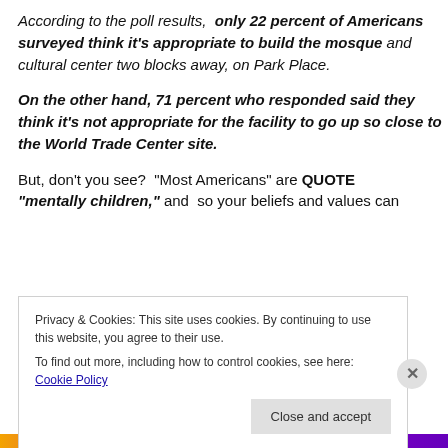According to the poll results, only 22 percent of Americans surveyed think it's appropriate to build the mosque and cultural center two blocks away, on Park Place.
On the other hand, 71 percent who responded said they think it's not appropriate for the facility to go up so close to the World Trade Center site.
But, don't you see? "Most Americans" are QUOTE "mentally children," and so your beliefs and values can
Privacy & Cookies: This site uses cookies. By continuing to use this website, you agree to their use.
To find out more, including how to control cookies, see here: Cookie Policy